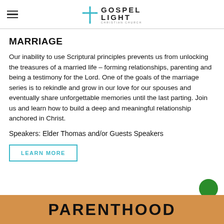GOSPEL LIGHT CHRISTIAN CHURCH
MARRIAGE
Our inability to use Scriptural principles prevents us from unlocking the treasures of a married life – forming relationships, parenting and being a testimony for the Lord. One of the goals of the marriage series is to rekindle and grow in our love for our spouses and eventually share unforgettable memories until the last parting. Join us and learn how to build a deep and meaningful relationship anchored in Christ.
Speakers: Elder Thomas and/or Guests Speakers
LEARN MORE
[Figure (other): Green circular chat/action button in bottom right corner]
[Figure (other): Orange/tan banner at bottom of page with large text PARENTHOOD partially visible]